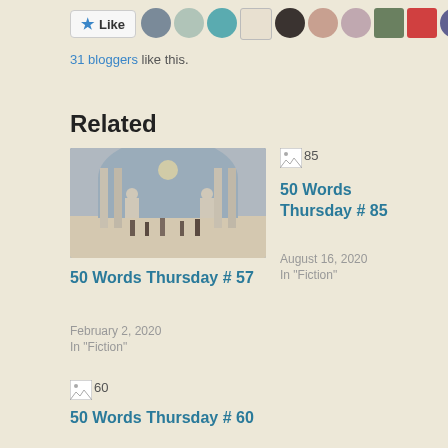[Figure (other): Like button with star icon and row of blogger avatar thumbnails]
31 bloggers like this.
Related
[Figure (photo): Interior of a large museum hall with sculptures and visitors]
50 Words Thursday # 57
February 2, 2020
In "Fiction"
[Figure (other): Broken image thumbnail labeled 85]
50 Words Thursday # 85
August 16, 2020
In "Fiction"
[Figure (other): Broken image thumbnail labeled 60]
50 Words Thursday # 60